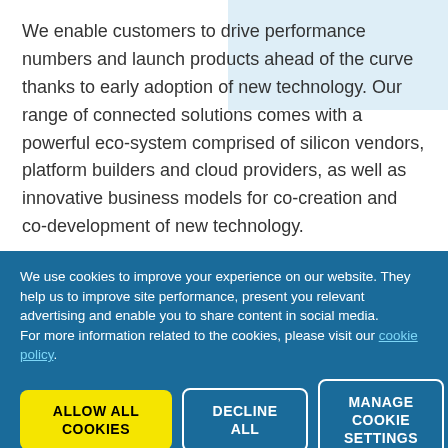We enable customers to drive performance numbers and launch products ahead of the curve thanks to early adoption of new technology. Our range of connected solutions comes with a powerful eco-system comprised of silicon vendors, platform builders and cloud providers, as well as innovative business models for co-creation and co-development of new technology.
We use cookies to improve your experience on our website. They help us to improve site performance, present you relevant advertising and enable you to share content in social media. For more information related to the cookies, please visit our cookie policy.
ALLOW ALL COOKIES
DECLINE ALL
MANAGE COOKIE SETTINGS